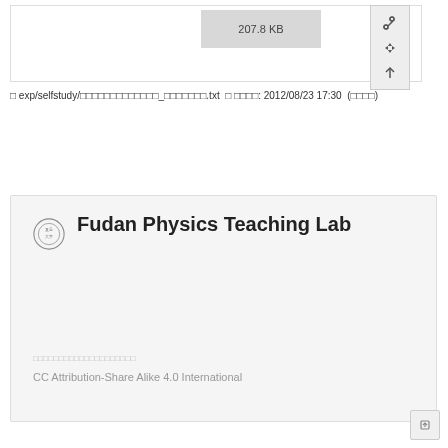[Figure (screenshot): File preview box showing '207.8 KB' file size label in a grey rectangle, with sidebar icons (link, move, up arrow) on the right side]
□ exp/selfstudy/□□□□□□□□□□□□□_□□□□□□□.txt □ □□□□: 2012/08/23 17:30 (□□□□)
[Figure (screenshot): Card showing Fudan Physics Teaching Lab logo and title, with CC Attribution-Share Alike 4.0 International license text at bottom]
CC Attribution-Share Alike 4.0 International